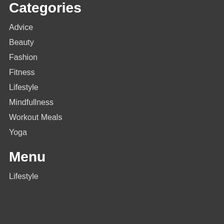Categories
Advice
Beauty
Fashion
Fitness
Lifestyle
Mindfullness
Workout Meals
Yoga
Menu
Lifestyle